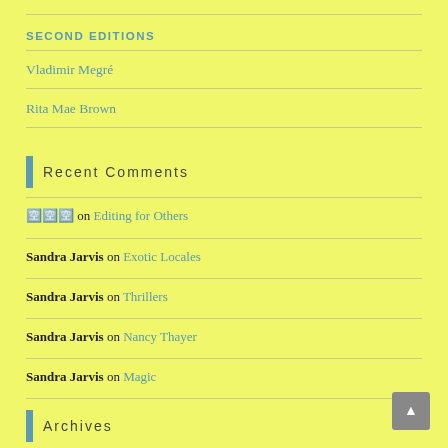SECOND EDITIONS
Vladimir Megré
Rita Mae Brown
Recent Comments
🈳🈳🈳 on Editing for Others
Sandra Jarvis on Exotic Locales
Sandra Jarvis on Thrillers
Sandra Jarvis on Nancy Thayer
Sandra Jarvis on Magic
Archives